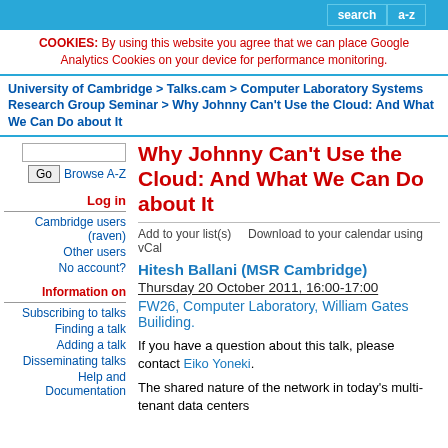search  a-z
COOKIES: By using this website you agree that we can place Google Analytics Cookies on your device for performance monitoring.
University of Cambridge > Talks.cam > Computer Laboratory Systems Research Group Seminar > Why Johnny Can't Use the Cloud: And What We Can Do about It
Go  Browse A-Z
Log in
Cambridge users (raven)
Other users
No account?
Information on
Subscribing to talks
Finding a talk
Adding a talk
Disseminating talks
Help and Documentation
Why Johnny Can't Use the Cloud: And What We Can Do about It
Add to your list(s)    Download to your calendar using vCal
Hitesh Ballani (MSR Cambridge)
Thursday 20 October 2011, 16:00-17:00
FW26, Computer Laboratory, William Gates Builiding.
If you have a question about this talk, please contact Eiko Yoneki.
The shared nature of the network in today's multi-tenant data centers